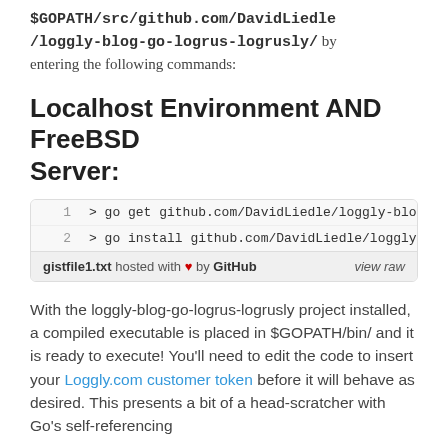$GOPATH/src/github.com/DavidLiedle/loggly-blog-go-logrus-logrusly/ by entering the following commands:
Localhost Environment AND FreeBSD Server:
[Figure (screenshot): Code gist box showing two terminal commands: '> go get github.com/DavidLiedle/loggly-blog-go-logrus...' and '> go install github.com/DavidLiedle/loggly-blog-go-lo...' with footer 'gistfile1.txt hosted with ♥ by GitHub' and 'view raw']
With the loggly-blog-go-logrus-logrusly project installed, a compiled executable is placed in $GOPATH/bin/ and it is ready to execute! You'll need to edit the code to insert your Loggly.com customer token before it will behave as desired. This presents a bit of a head-scratcher with Go's self-referencing